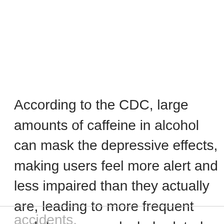According to the CDC, large amounts of caffeine in alcohol can mask the depressive effects, making users feel more alert and less impaired than they actually are, leading to more frequent and dangerous alcohol-related accidents.